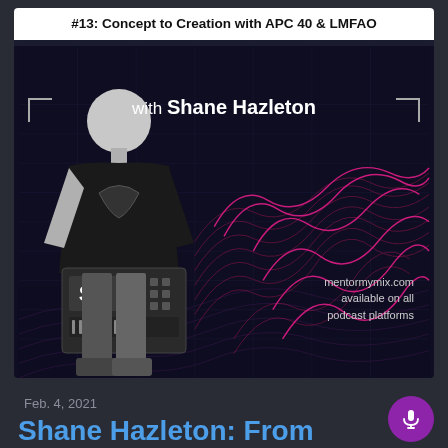#13: Concept to Creation with APC 40 & LMFAO
[Figure (illustration): Podcast cover image showing DJ Shane Hazleton holding an APC 40 device against a dark background with pink/magenta wave graphics. Text overlay reads 'with Shane Hazleton' and 'mentormymix.com available on all podcast platforms'.]
Feb. 4, 2021
Shane Hazleton: From conceptualizing the original APC 40 to Mentoring...